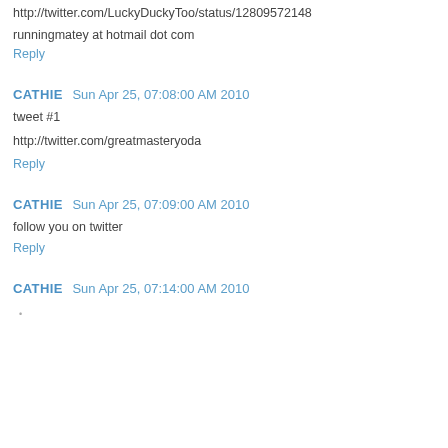http://twitter.com/LuckyDuckyToo/status/12809572148
runningmatey at hotmail dot com
Reply
CATHIE  Sun Apr 25, 07:08:00 AM 2010
tweet #1
http://twitter.com/greatmasteryoda
Reply
CATHIE  Sun Apr 25, 07:09:00 AM 2010
follow you on twitter
Reply
CATHIE  Sun Apr 25, 07:14:00 AM 2010